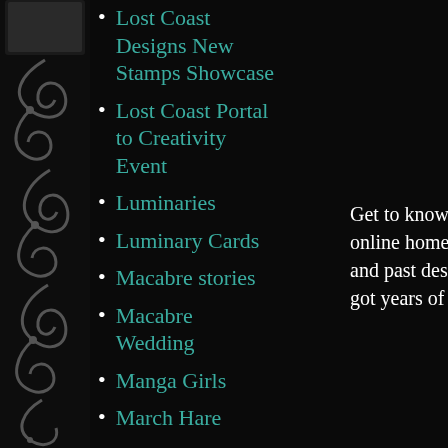Lost Coast Designs New Stamps Showcase
Lost Coast Portal to Creativity Event
Luminaries
Luminary Cards
Macabre stories
Macabre Wedding
Manga Girls
March Hare
Marvy Le Plume Permanent
Get to know online home. T and past design got years of ar